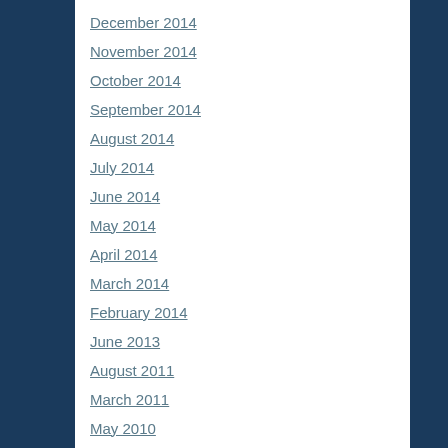December 2014
November 2014
October 2014
September 2014
August 2014
July 2014
June 2014
May 2014
April 2014
March 2014
February 2014
June 2013
August 2011
March 2011
May 2010
March 2010